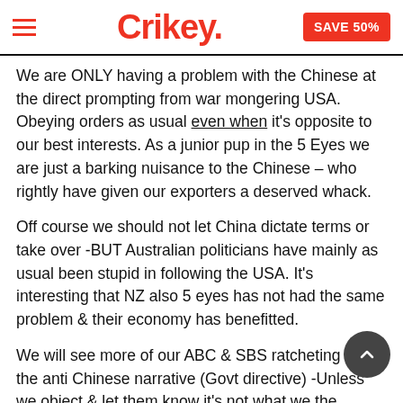Crikey. SAVE 50%
We are ONLY having a problem with the Chinese at the direct prompting from war mongering USA. Obeying orders as usual even when it's opposite to our best interests. As a junior pup in the 5 Eyes we are just a barking nuisance to the Chinese – who rightly have given our exporters a deserved whack.
Off course we should not let China dictate terms or take over -BUT Australian politicians have mainly as usual been stupid in following the USA. It's interesting that NZ also 5 eyes has not had the same problem & their economy has benefitted.
We will see more of our ABC & SBS ratcheting up the anti Chinese narrative (Govt directive) -Unless we object & let them know it's not what we the people want. The